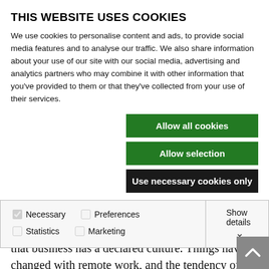THIS WEBSITE USES COOKIES
We use cookies to personalise content and ads, to provide social media features and to analyse our traffic. We also share information about your use of our site with our social media, advertising and analytics partners who may combine it with other information that you’ve provided to them or that they’ve collected from your use of their services.
Allow all cookies
Allow selection
Use necessary cookies only
Necessary  Preferences  Statistics  Marketing  Show details
culture, based on leadership in hybrid work. Don’t sit comfortably on the laurels of victory thinking that business has a declared culture. Things have changed with remote work, and the tendency of people with different work styles is to stay away from each other.
According to a study by the Society for Human Resource Management, two-thirds of employers are